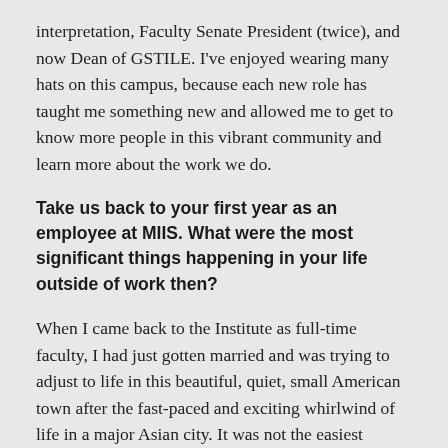interpretation, Faculty Senate President (twice), and now Dean of GSTILE. I've enjoyed wearing many hats on this campus, because each new role has taught me something new and allowed me to get to know more people in this vibrant community and learn more about the work we do.
Take us back to your first year as an employee at MIIS. What were the most significant things happening in your life outside of work then?
When I came back to the Institute as full-time faculty, I had just gotten married and was trying to adjust to life in this beautiful, quiet, small American town after the fast-paced and exciting whirlwind of life in a major Asian city. It was not the easiest transition, but MIIS is a great landing place – I found the campus community so familiar, welcoming, and vibrant, and also enjoyed exploring and deepening connections